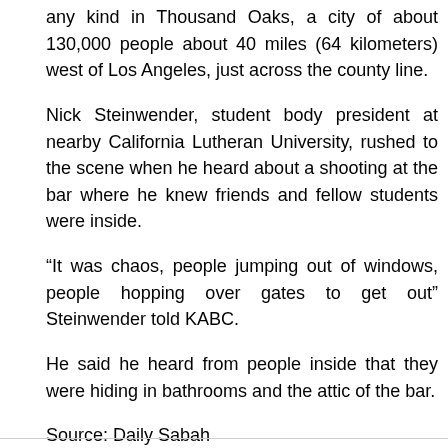any kind in Thousand Oaks, a city of about 130,000 people about 40 miles (64 kilometers) west of Los Angeles, just across the county line.
Nick Steinwender, student body president at nearby California Lutheran University, rushed to the scene when he heard about a shooting at the bar where he knew friends and fellow students were inside.
“It was chaos, people jumping out of windows, people hopping over gates to get out” Steinwender told KABC.
He said he heard from people inside that they were hiding in bathrooms and the attic of the bar.
Source: Daily Sabah